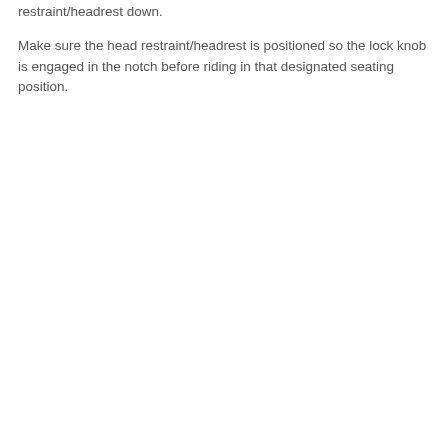restraint/headrest down.
Make sure the head restraint/headrest is positioned so the lock knob is engaged in the notch before riding in that designated seating position.